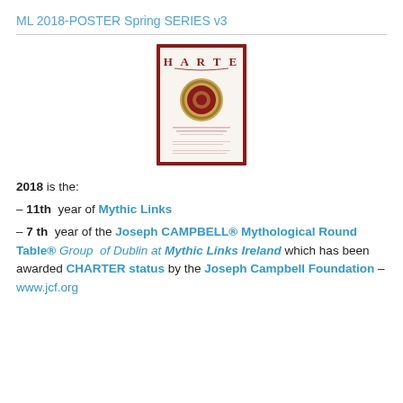ML 2018-POSTER Spring SERIES v3
[Figure (photo): Cover image of a Charter document with a red border, showing the word CHARTER in large text at the top with a decorative gold and red seal/medallion in the center, and small text below.]
2018 is the: – 11th year of Mythic Links – 7 th year of the Joseph CAMPBELL® Mythological Round Table® Group of Dublin at Mythic Links Ireland which has been awarded CHARTER status by the Joseph Campbell Foundation – www.jcf.org